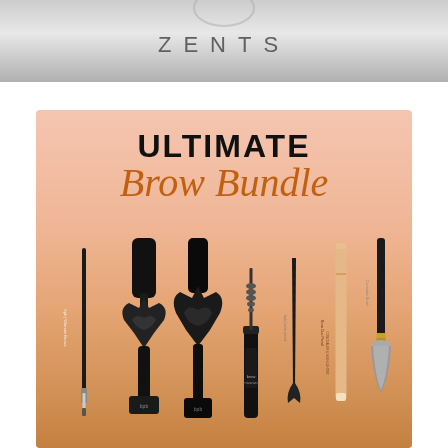[Figure (logo): ZENTS brand logo text on silver/grey gradient background]
[Figure (illustration): Ultimate Brow Bundle product advertisement on pink-to-amber gradient background, featuring text 'ULTIMATE' in bold black and 'Brow Bundle' in orange italic script, with an array of brow makeup products below including brow pencils, a brow stamp/stencil tool, brow mascara, tweezers, a brow duo pencil concealer & highlighter, and a concealer brush]